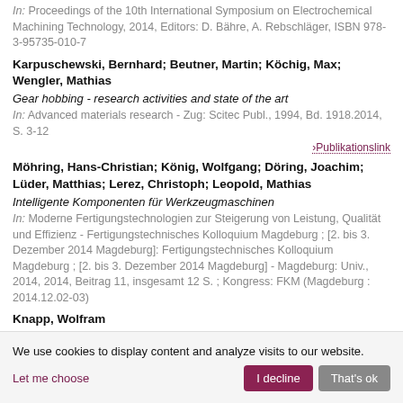In: Proceedings of the 10th International Symposium on Electrochemical Machining Technology, 2014, Editors: D. Bähre, A. Rebschläger, ISBN 978-3-95735-010-7
Karpuschewski, Bernhard;  Beutner, Martin;  Köchig, Max;  Wengler, Mathias
Gear hobbing - research activities and state of the art
In: Advanced materials research - Zug: Scitec Publ., 1994, Bd. 1918.2014, S. 3-12
›Publikationslink
Möhring, Hans-Christian;  König, Wolfgang;  Döring, Joachim;  Lüder, Matthias;  Lerez, Christoph;  Leopold, Mathias
Intelligente Komponenten für Werkzeugmaschinen
In: Moderne Fertigungstechnologien zur Steigerung von Leistung, Qualität und Effizienz - Fertigungstechnisches Kolloquium Magdeburg ; [2. bis 3. Dezember 2014 Magdeburg]: Fertigungstechnisches Kolloquium Magdeburg ; [2. bis 3. Dezember 2014 Magdeburg] - Magdeburg: Univ., 2014, 2014, Beitrag 11, insgesamt 12 S. ; Kongress: FKM (Magdeburg : 2014.12.02-03)
Knapp, Wolfram
Self-screening effect of stand-alone CNT field emitter with high aspect
We use cookies to display content and analyze visits to our website.
Let me choose | I decline | That's ok